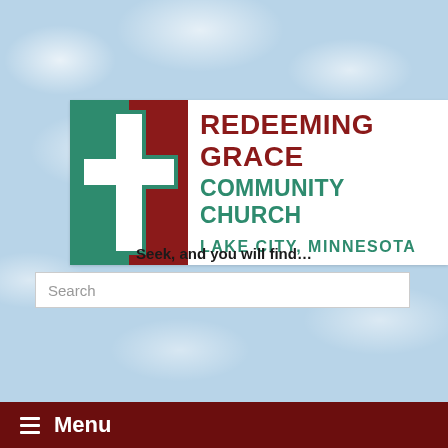[Figure (logo): Redeeming Grace Community Church logo with white cross on teal and red background, with church name text]
Seek, and you will find…
Search
[Figure (logo): Facebook blue button with letter f]
[Figure (logo): Red RAP button with lock icon]
Menu